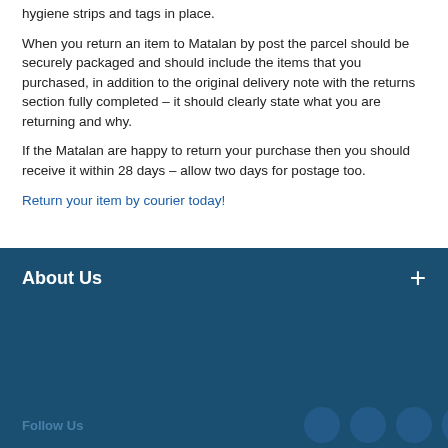hygiene strips and tags in place.
When you return an item to Matalan by post the parcel should be securely packaged and should include the items that you purchased, in addition to the original delivery note with the returns section fully completed – it should clearly state what you are returning and why.
If the Matalan are happy to return your purchase then you should receive it within 28 days – allow two days for postage too.
Return your item by courier today!
About Us
Our site uses cookies to give you the best experience on our website. You can accept all cookies or manage them individually and can change your settings at any time
Accept All
Follow Us